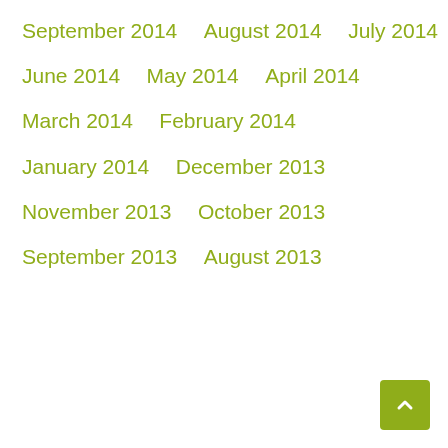September 2014
August 2014
July 2014
June 2014
May 2014
April 2014
March 2014
February 2014
January 2014
December 2013
November 2013
October 2013
September 2013
August 2013